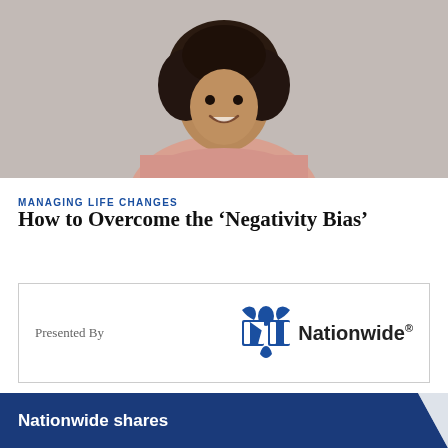[Figure (photo): Smiling Black woman with curly hair wearing a pink fuzzy sweater, standing against a light grey background]
MANAGING LIFE CHANGES
How to Overcome the ‘Negativity Bias’
[Figure (logo): Nationwide Insurance logo with eagle/bird icon and wordmark 'Nationwide' with registered trademark symbol, inside a bordered box with 'Presented By' text]
[Figure (other): Dark navy blue banner at bottom with white bold text 'Nationwide shares']